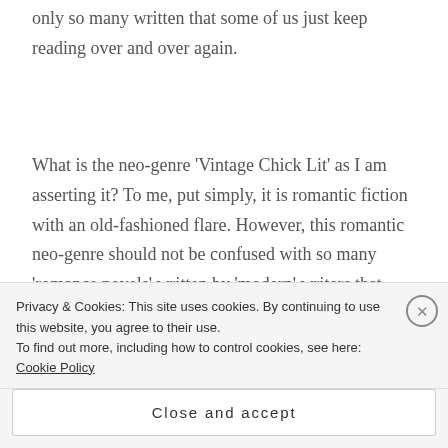only so many written that some of us just keep reading over and over again.
What is the neo-genre 'Vintage Chick Lit' as I am asserting it? To me, put simply, it is romantic fiction with an old-fashioned flare. However, this romantic neo-genre should not be confused with so many 'romance novels' written by 'modern' writers that seem to follow a compressed formulaic version of the (Elizabeth and Darcy) formula — this lot…
Privacy & Cookies: This site uses cookies. By continuing to use this website, you agree to their use.
To find out more, including how to control cookies, see here: Cookie Policy
Close and accept